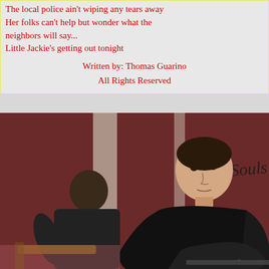The local police ain't wiping any tears away
Her folks can't help but wonder what the neighbors will say...
Little Jackie's getting out tonight
Written by: Thomas Guarino
All Rights Reserved
[Figure (photo): Two musicians on stage in front of a dark red backdrop with 'Lost Souls' written in cursive. One man faces away playing guitar, the other faces camera wearing a black t-shirt holding a guitar.]